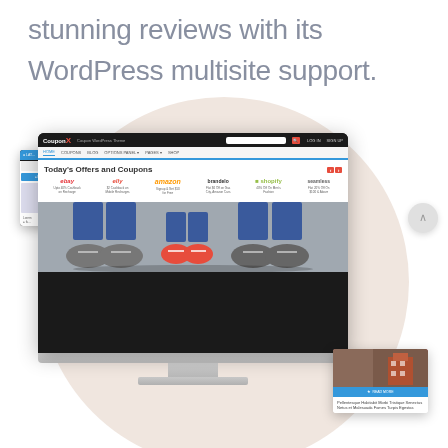stunning reviews with its WordPress multisite support.
[Figure (screenshot): A desktop computer monitor mockup displaying a coupon/deals WordPress theme website (CouponX) with brands like eBay, Amazon, Shopify, and a hero image of people's feet in sneakers. Additional floating UI elements show a left sidebar panel and a blog card with a building photo. The whole composition sits on a large light beige/pink circle background.]